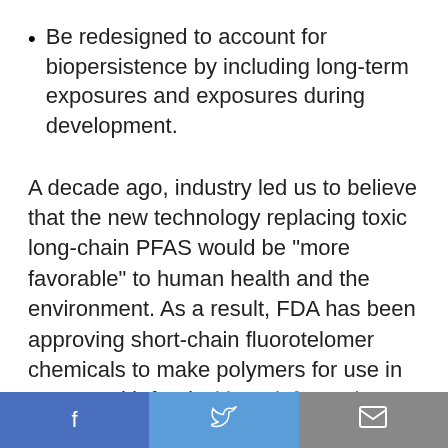Be redesigned to account for biopersistence by including long-term exposures and exposures during development.
A decade ago, industry led us to believe that the new technology replacing toxic long-chain PFAS would be “more favorable” to human health and the environment. As a result, FDA has been approving short-chain fluorotelomer chemicals to make polymers for use in contact with food without information on the potential biopersistence of the chemicals themselves or
f  [twitter icon]  [mail icon]